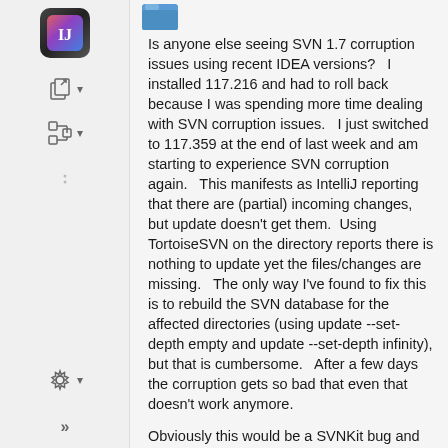[Figure (screenshot): IDE sidebar with IntelliJ IDEA icon, tool window buttons, dots separator, gear/settings icon with dropdown arrow, and double-arrow expand button]
[Figure (illustration): User avatar icon - blue square/folder shape at top of post]
Is anyone else seeing SVN 1.7 corruption issues using recent IDEA versions?   I installed 117.216 and had to roll back because I was spending more time dealing with SVN corruption issues.   I just switched to 117.359 at the end of last week and am starting to experience SVN corruption again.   This manifests as IntelliJ reporting that there are (partial) incoming changes, but update doesn't get them.  Using TortoiseSVN on the directory reports there is nothing to update yet the files/changes are missing.   The only way I've found to fix this is to rebuild the SVN database for the affected directories (using update --set-depth empty and update --set-depth infinity), but that is cumbersome.   After a few days the corruption gets so bad that even that doesn't work anymore.
Obviously this would be a SVNKit bug and not an IDEA bug, but I'm writing about it here to see if other people are experiencing it and perhaps JetBrains can track down which